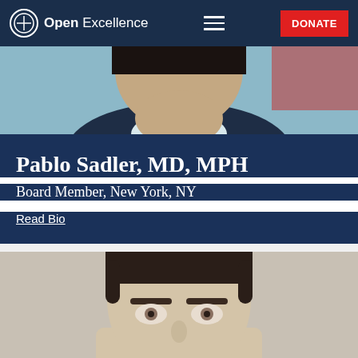Open Excellence — Navigation bar with logo, hamburger menu, and DONATE button
[Figure (photo): Top portion of a person's head/face, partially cropped, dark hair, wearing a white collar, with reddish background behind]
Pablo Sadler, MD, MPH
Board Member, New York, NY
Read Bio
[Figure (photo): Close-up portrait photo of a man with short dark hair and light eyes, neutral expression, against a gray/beige background]